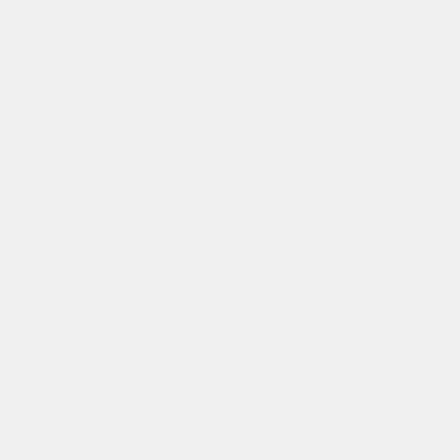AI in Medicine
AI applications are already appearing in... Examples: IDx-DR, OsteoDetect, Embrac... automatically detect lesions, and tumors... humans. For Pharma, AI will power drug... candidates. The FDA has a plan for app... enabled medical devices here.
Autonomous Vehicles
Harder than it first seemed, but car comp... than human autonomy for highway drivi...
Decision support
Advanced virtual assistants can listen to... maintain data models, and predict and re... and automate tasks that were previously...
Supply chain management
AI applications are already appearing in... management, procurement, order fulfillm... promotion management.
Marketing
AI applications are already appearing in... media optimization and campaign orche... automate marketing processes and task... capability, and to uncover new custom...